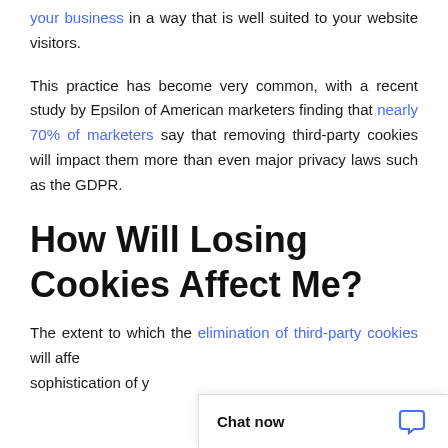your business in a way that is well suited to your website visitors.
This practice has become very common, with a recent study by Epsilon of American marketers finding that nearly 70% of marketers say that removing third-party cookies will impact them more than even major privacy laws such as the GDPR.
How Will Losing Cookies Affect Me?
The extent to which the elimination of third-party cookies will affe... sophistication of y...